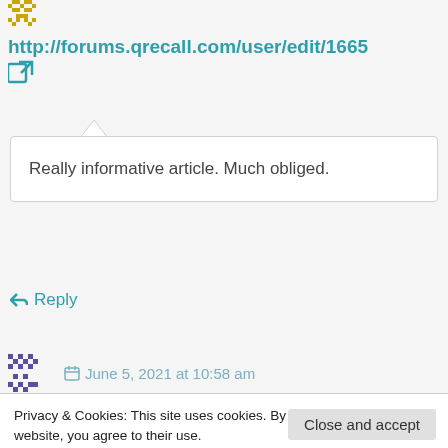http://forums.qrecall.com/user/edit/1665
Really informative article. Much obliged.
← Reply
June 5, 2021 at 10:58 am
Privacy & Cookies: This site uses cookies. By continuing to use this website, you agree to their use. To find out more, including how to control cookies, see here: Cookie Policy
Close and accept
forward to read more. Want more